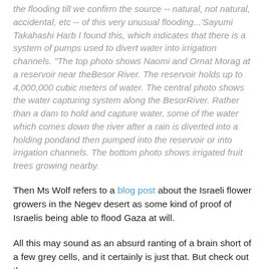the flooding till we confirm the source -- natural, not natural, accidental, etc -- of this very unusual flooding...'Sayumi Takahashi Harb I found this, which indicates that there is a system of pumps used to divert water into irrigation channels. "The top photo shows Naomi and Ornat Morag at a reservoir near theBesor River. The reservoir holds up to 4,000,000 cubic meters of water. The central photo shows the water capturing system along the BesorRiver. Rather than a dam to hold and capture water, some of the water which comes down the river after a rain is diverted into a holding pondand then pumped into the reservoir or into irrigation channels. The bottom photo shows irrigated fruit trees growing nearby.
Then Ms Wolf refers to a blog post about the Israeli flower growers in the Negev desert as some kind of proof of Israelis being able to flood Gaza at will.
All this may sound as an absurd ranting of a brain short of a few grey cells, and it certainly is just that. But check out the